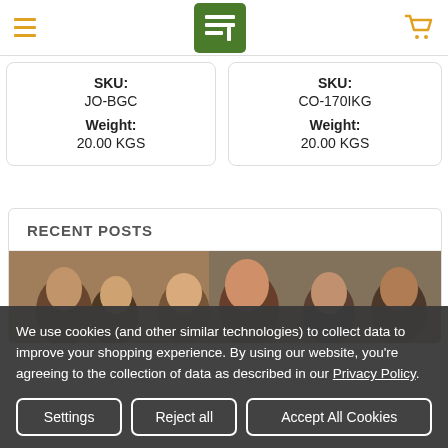[Figure (logo): Website header with hamburger menu icon, green logo box with white icon, and orange shopping cart icon]
SKU: JO-BGC
Weight: 20.00 KGS
SKU: CO-170IKG
Weight: 20.00 KGS
RECENT POSTS
[Figure (photo): Group of smiling young people outdoors in front of a brick building]
We use cookies (and other similar technologies) to collect data to improve your shopping experience. By using our website, you're agreeing to the collection of data as described in our Privacy Policy.
Settings | Reject all | Accept All Cookies